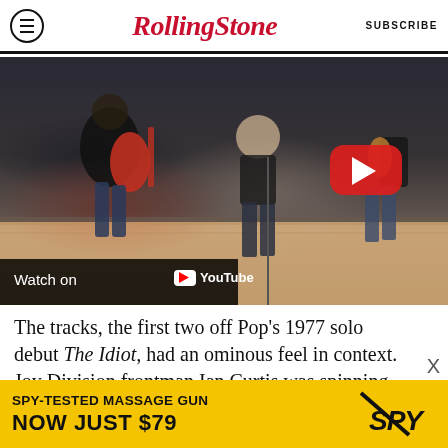Rolling Stone | SUBSCRIBE
[Figure (screenshot): YouTube video thumbnail showing a band performing live. A woman stands at a microphone stand center-right, a guitarist plays a red guitar on the left, another guitarist is at the back right. A large YouTube play button is overlaid on the video. 'Watch on YouTube' bar appears at the bottom left.]
The tracks, the first two off Pop's 1977 solo debut The Idiot, had an ominous feel in context. Joy Division frontman Ian Curtis was spinning The
[Figure (infographic): Advertisement banner: SPY-TESTED MASSAGE GUN NOW JUST $79 with SPY logo on yellow background]